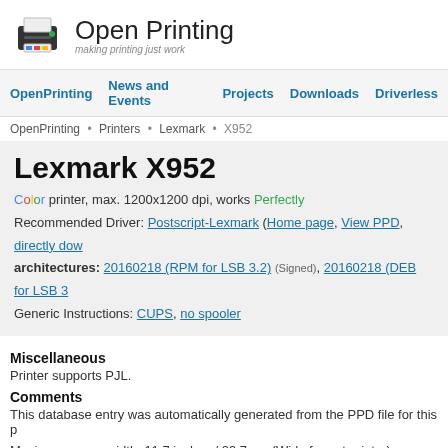[Figure (logo): Open Printing logo with printer icon and text 'Open Printing / making printing just work']
OpenPrinting  News and Events  Projects  Downloads  Driverless
OpenPrinting • Printers • Lexmark • X952
Lexmark X952
Color printer, max. 1200x1200 dpi, works Perfectly
Recommended Driver: Postscript-Lexmark (Home page, View PPD, directly dow...
architectures: 20160218 (RPM for LSB 3.2) (Signed), 20160218 (DEB for LSB 3...
Generic Instructions: CUPS, no spooler
Miscellaneous
Printer supports PJL.
Comments
This database entry was automatically generated from the PPD file for this p...
Maximum paper width: 11.7 inches / 29.7 cm (Wide format printer)